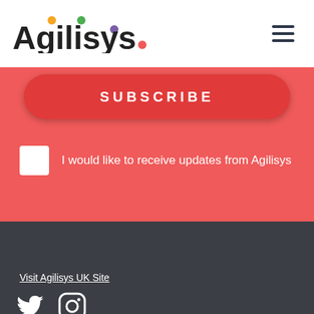[Figure (logo): Agilisys logo with colored dots above letters in top header bar]
[Figure (infographic): Hamburger menu icon (three horizontal lines) in top-right of header]
SUBSCRIBE
I would like to receive updates from Agilisys
[Figure (logo): Agilisys logo with colored dots above letters in dark footer]
Visit Agilisys UK Site
[Figure (infographic): Twitter and Instagram social media icons in white on dark background]